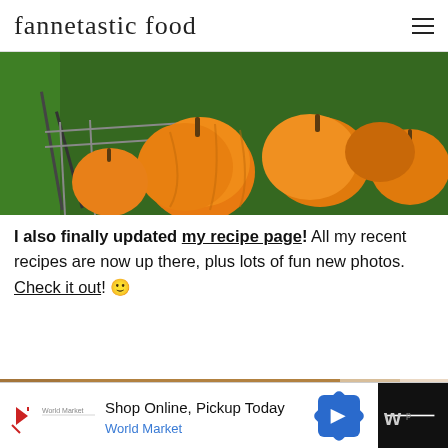fannetastic food
[Figure (photo): A large photo of small orange pumpkins/gourds in a metal display bin at a market, with green foliage in the background.]
I also finally updated my recipe page! All my recent recipes are now up there, plus lots of fun new photos. Check it out! 🙂
[Figure (photo): A close-up photo of a baked oat/granola bar or similar baked good with seeds/oats on top, with a blurred white background.]
[Figure (infographic): Advertisement bar reading 'Shop Online, Pickup Today – World Market' with a blue diamond arrow icon and a dark section on the right with stylized 'w' logo.]